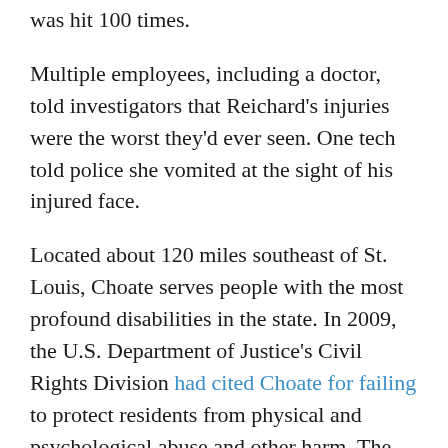was hit 100 times.
Multiple employees, including a doctor, told investigators that Reichard's injuries were the worst they'd ever seen. One tech told police she vomited at the sight of his injured face.
Located about 120 miles southeast of St. Louis, Choate serves people with the most profound disabilities in the state. In 2009, the U.S. Department of Justice's Civil Rights Division had cited Choate for failing to protect residents from physical and psychological abuse and other harm. The federal agency stopped short of suing the state of Illinois — a step it has taken against other states — and closed its investigation in 2013, saying in a report to Congress that Illinois officials had made adequate improvements.
The Reichard beating happened the next year, just before Choate...